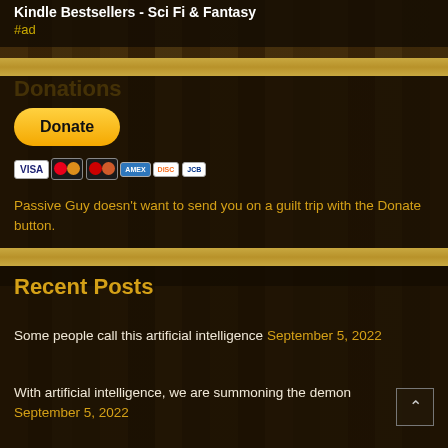Kindle Bestsellers - Sci Fi & Fantasy
#ad
Donations
[Figure (other): PayPal Donate button with payment icons (Visa, Mastercard, American Express, Discover, JCB)]
Passive Guy doesn't want to send you on a guilt trip with the Donate button.
Recent Posts
Some people call this artificial intelligence September 5, 2022
With artificial intelligence, we are summoning the demon September 5, 2022